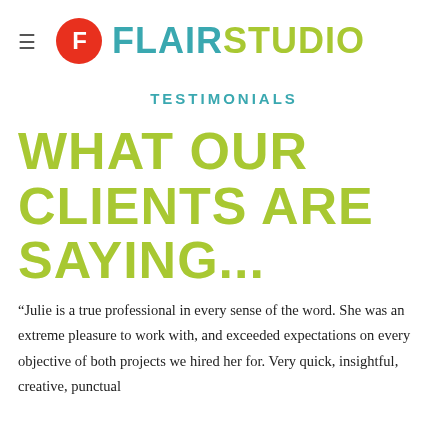≡  FLAIRSTUDIO
TESTIMONIALS
WHAT OUR CLIENTS ARE SAYING...
“Julie is a true professional in every sense of the word. She was an extreme pleasure to work with, and exceeded expectations on every objective of both projects we hired her for. Very quick, insightful, creative, punctual